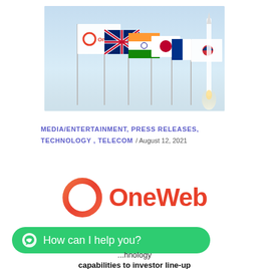[Figure (photo): Photo of multiple national flags on poles including OneWeb logo flag, UK, India, Japan, South Korea flags, with a rocket launching in the background against a blue sky.]
MEDIA/ENTERTAINMENT, PRESS RELEASES, TECHNOLOGY , TELECOM /  August 12, 2021
[Figure (logo): OneWeb logo: orange/red circular ring icon next to red 'OneWeb' wordmark text]
[Figure (screenshot): Green WhatsApp-style chat bubble button with text 'How can I help you?']
...hnology capabilities to investor line-up